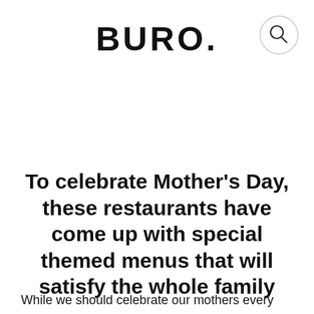BURO.
[Figure (other): Search icon — a circle with a magnifying glass symbol inside]
To celebrate Mother's Day, these restaurants have come up with special themed menus that will satisfy the whole family
While we should celebrate our mothers every day, it